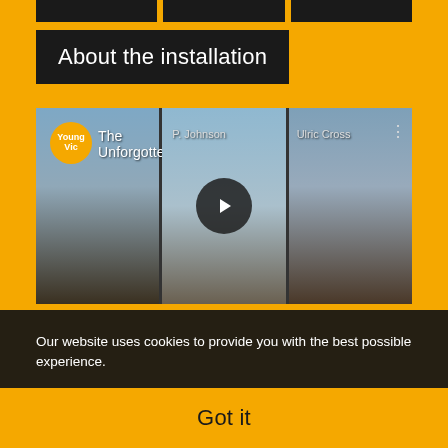About the installation
[Figure (screenshot): YouTube video thumbnail showing 'The Unforgotten' by Young Vic, split into three panels showing billboard portraits against a sky backdrop. Center panel shows YouTube play button overlay.]
Our website uses cookies to provide you with the best possible experience.
To find out more head to our Cookie Policy or refer to our updated Privacy Policy.
Got it